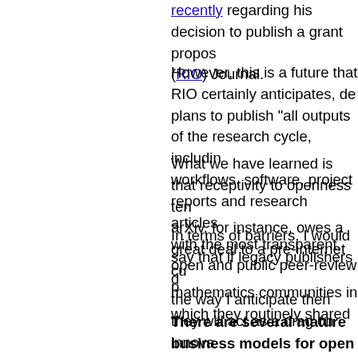recently regarding his decision to publish a grant proposal in (RIO) Journal.
However, this is a future that RIO certainly anticipates, de plans to publish "all outputs of the research cycle, includin workflows, software, project reports and research articles with the most transparent, open and public peer-review p
What we have learned is that receptivity to openness ten arXiv, for instance, owes a great deal to a pre-internet cu mathematics communities in which they routinely shared
In terms of barriers, I would say that if legacy publishers d the way I anticipate then they will act as a drag on innova to accept OA because at some point they realised it was them to continue publishing their legacy journals, and in a openness further would I think threaten those profits, and existence of the journal.
There are several mature business models for open j not sure what is the best solution for books. Do you